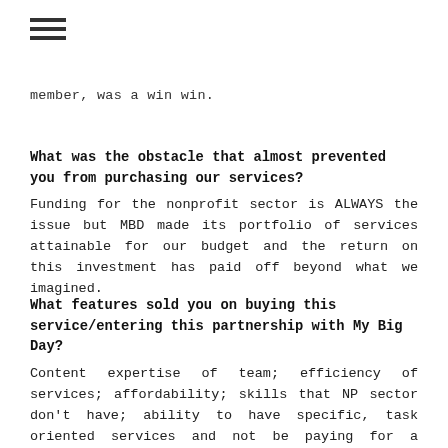≡ (hamburger menu icon)
member, was a win win.
What was the obstacle that almost prevented you from purchasing our services?
Funding for the nonprofit sector is ALWAYS the issue but MBD made its portfolio of services attainable for our budget and the return on this investment has paid off beyond what we imagined.
What features sold you on buying this service/entering this partnership with My Big Day?
Content expertise of team; efficiency of services; affordability; skills that NP sector don't have; ability to have specific, task oriented services and not be paying for a marketing staff member to sit in unnecessary staff meetings, etc. MBD's experience